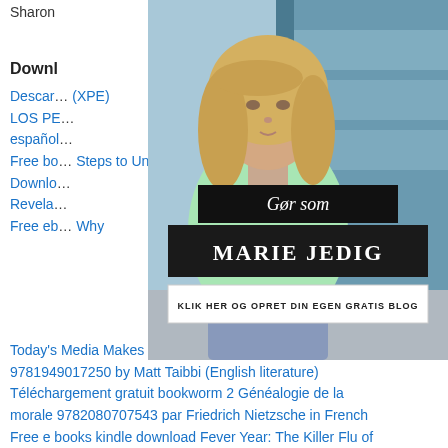Sharon
Downl…
Descar… (XPE) LOS PE… español… Free bo… Steps to Unlo… ower, and Ge… English literatu… Downlo… Revela… Free eb… Why Today's Media Makes Us Despise One Another 9781949017250 by Matt Taibbi (English literature) Téléchargement gratuit bookworm 2 Généalogie de la morale 9782080707543 par Friedrich Nietzsche in French Free e books kindle download Fever Year: The Killer Flu of 1918
[Figure (photo): Advertisement image of a blonde woman in a mint green knit turtleneck sweater standing in front of a train, with overlaid text 'Gør som MARIE JEDIG' and 'KLIK HER OG OPRET DIN EGEN GRATIS BLOG']